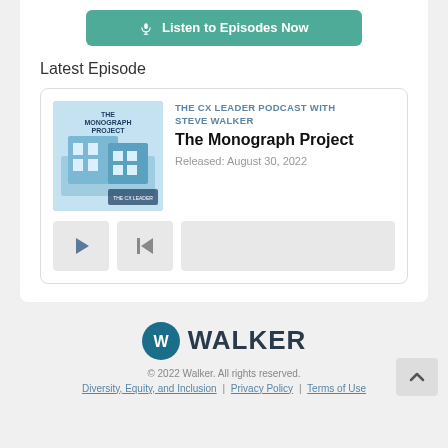[Figure (other): Button: microphone icon followed by 'Listen to Episodes Now' text on a teal/green rounded rectangle button]
Latest Episode
[Figure (other): Podcast episode card showing The Monograph Project episode artwork (blue illustrated cover), podcast name 'THE CX LEADER PODCAST WITH STEVE WALKER', episode title 'The Monograph Project', release date 'Released: August 30, 2022', and audio player controls with play button, rewind button, and progress bar]
[Figure (logo): Walker company logo: circular dark teal icon with stylized W/checkmark followed by 'WALKER' text in dark navy]
© 2022 Walker. All rights reserved.
Diversity, Equity, and Inclusion | Privacy Policy | Terms of Use